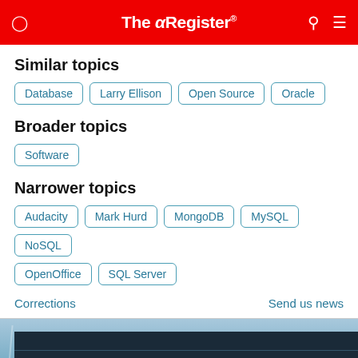The Register
Similar topics
Database
Larry Ellison
Open Source
Oracle
Broader topics
Software
Narrower topics
Audacity
Mark Hurd
MongoDB
MySQL
NoSQL
OpenOffice
SQL Server
Corrections
Send us news
[Figure (photo): Oracle building exterior with red Oracle banners/signage visible on the facade]